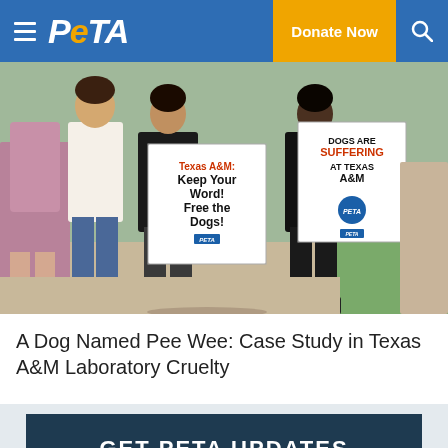PETA — Donate Now
[Figure (photo): Protesters holding signs reading 'Texas A&M: Keep Your Word! Free the Dogs!' and 'DOGS ARE SUFFERING AT TEXAS A&M' at an outdoor demonstration.]
A Dog Named Pee Wee: Case Study in Texas A&M Laboratory Cruelty
GET PETA UPDATES
Stay up to date on the latest vegan trends and get breaking animal rights news delivered straight to your inbox!